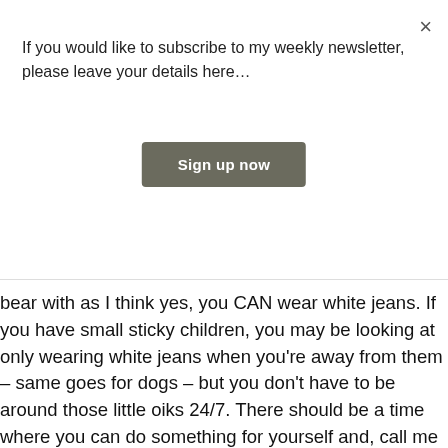If you would like to subscribe to my weekly newsletter, please leave your details here…
Sign up now
bear with as I think yes, you CAN wear white jeans. If you have small sticky children, you may be looking at only wearing white jeans when you're away from them – same goes for dogs – but you don't have to be around those little oiks 24/7. There should be a time where you can do something for yourself and, call me crazy, but that could include wearing some light-coloured clothes.
It helps that my children are now teenagers and I have less chance of them smoushing a raspberry-covered finger all over the front within the first 5 minutes of getting dressed. Still a very high chance I will spill Marmite-covered toast face down into my lap before the end of breakfast though. This happens more